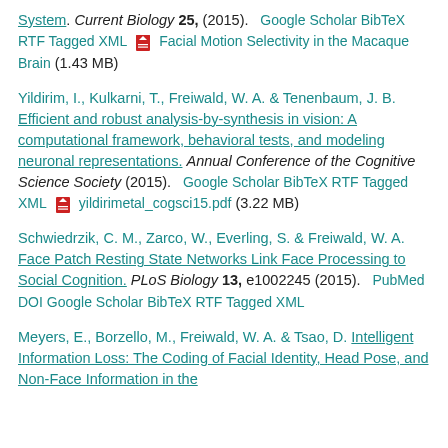System. Current Biology 25, (2015). Google Scholar BibTeX RTF Tagged XML [PDF] Facial Motion Selectivity in the Macaque Brain (1.43 MB)
Yildirim, I., Kulkarni, T., Freiwald, W. A. & Tenenbaum, J. B. Efficient and robust analysis-by-synthesis in vision: A computational framework, behavioral tests, and modeling neuronal representations. Annual Conference of the Cognitive Science Society (2015). Google Scholar BibTeX RTF Tagged XML yildirimetal_cogsci15.pdf (3.22 MB)
Schwiedrzik, C. M., Zarco, W., Everling, S. & Freiwald, W. A. Face Patch Resting State Networks Link Face Processing to Social Cognition. PLoS Biology 13, e1002245 (2015). PubMed DOI Google Scholar BibTeX RTF Tagged XML
Meyers, E., Borzello, M., Freiwald, W. A. & Tsao, D. Intelligent Information Loss: The Coding of Facial Identity, Head Pose, and Non-Face Information in the